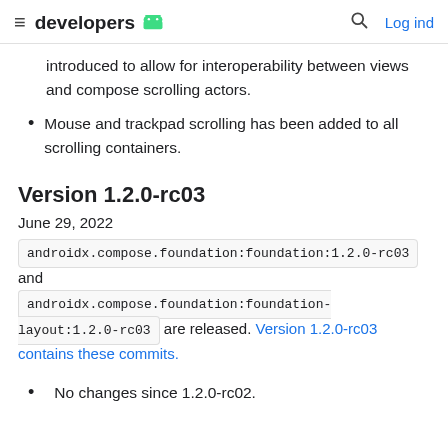developers  Log ind
introduced to allow for interoperability between views and compose scrolling actors.
Mouse and trackpad scrolling has been added to all scrolling containers.
Version 1.2.0-rc03
June 29, 2022
androidx.compose.foundation:foundation:1.2.0-rc03 and androidx.compose.foundation:foundation-layout:1.2.0-rc03 are released. Version 1.2.0-rc03 contains these commits.
No changes since 1.2.0-rc02.